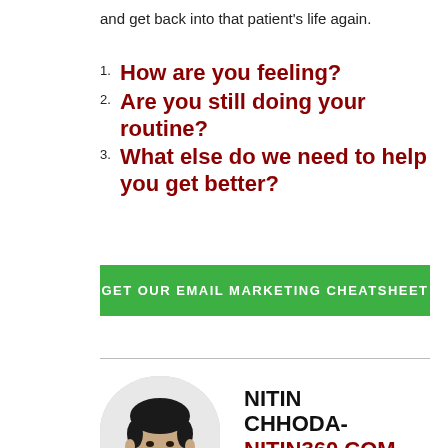and get back into that patient's life again.
1. How are you feeling?
2. Are you still doing your routine?
3. What else do we need to help you get better?
[Figure (other): Green button: GET OUR EMAIL MARKETING CHEATSHEET]
[Figure (photo): Headshot of Nitin Chhoda, a man smiling, black and white photo with circular crop]
NITIN CHHODA- NITIN360.COM